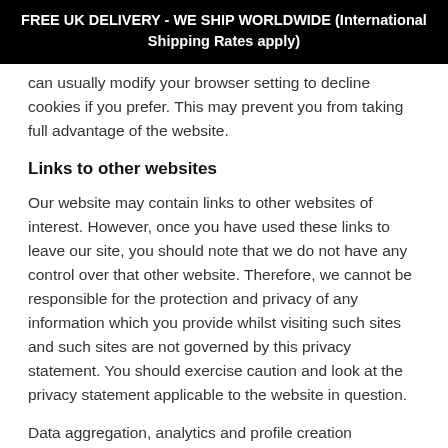FREE UK DELIVERY - WE SHIP WORLDWIDE (International Shipping Rates apply)
can usually modify your browser setting to decline cookies if you prefer. This may prevent you from taking full advantage of the website.
Links to other websites
Our website may contain links to other websites of interest. However, once you have used these links to leave our site, you should note that we do not have any control over that other website. Therefore, we cannot be responsible for the protection and privacy of any information which you provide whilst visiting such sites and such sites are not governed by this privacy statement. You should exercise caution and look at the privacy statement applicable to the website in question.
Data aggregation, analytics and profile creation